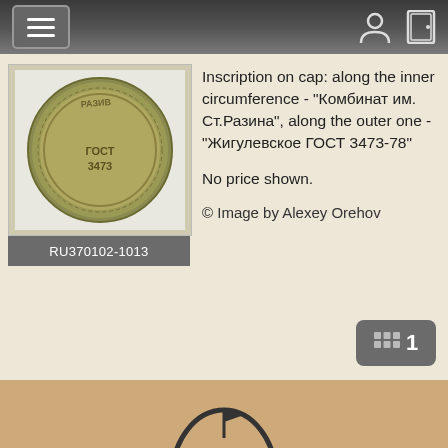Navigation bar with hamburger menu, user icon, and door icon
[Figure (photo): Gold/olive colored bottle cap with Cyrillic text 'ГОСТ РАЗИВ' and '3473' inscribed on it, photographed from below showing inner surface]
RU370102-1013
Inscription on cap: along the inner circumference - "Комбинат им. Ст.Разина", along the outer one - "Жигулевское ГОСТ 3473-78"
No price shown.
© Image by Alexey Orehov
[Figure (logo): Partial logo/icon at bottom of page showing a circular emblem with a flag or pennant design, dark outline on tan/beige background]